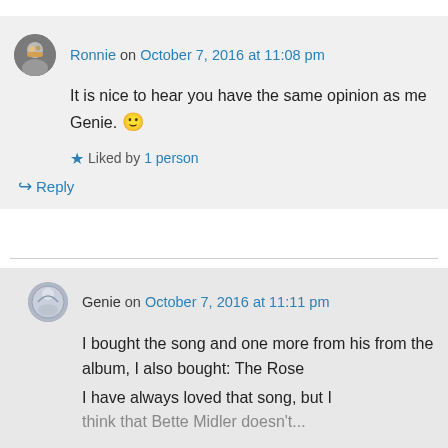Ronnie on October 7, 2016 at 11:08 pm
It is nice to hear you have the same opinion as me Genie. 🙂
Liked by 1 person
Reply
Genie on October 7, 2016 at 11:11 pm
I bought the song and one more from his from the album, I also bought: The Rose
I have always loved that song, but I think that Bette Midler doesn't...